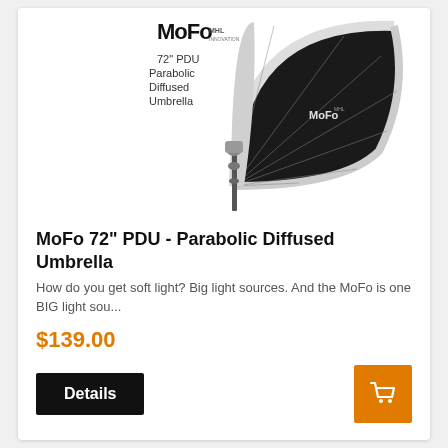[Figure (photo): MoFo 72-inch PDU Parabolic Diffused Umbrella product photo. Large black and silver parabolic umbrella on a light stand, with MoFo logo visible. White background with product name text overlay: '72" PDU Parabolic Diffused Umbrella'.]
MoFo 72" PDU - Parabolic Diffused Umbrella
How do you get soft light? Big light sources. And the MoFo is one BIG light sou...
$139.00
Details